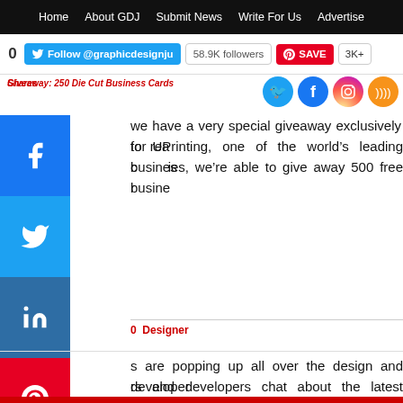Home  About GDJ  Submit News  Write For Us  Advertise
0  Follow @graphicdesignju  58.9K followers  SAVE  3K+
Giveaway: 250 Die Cut Business Cards
we have a very special giveaway exclusively for readers. Thanks to UPrinting, one of the world's leading business card companies, we're able to give away 500 free business cards.
Designer
s are popping up all over the design and developer community. designers and developers chat about the latest trends and questions being asked in the community.